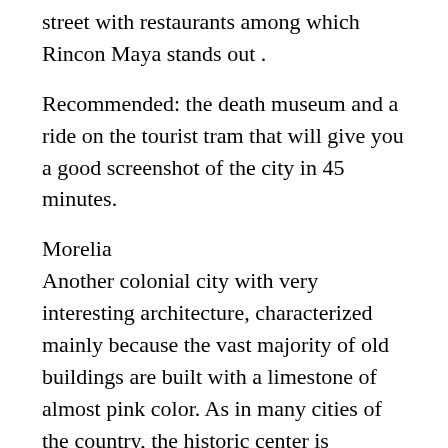street with restaurants among which Rincon Maya stands out .
Recommended: the death museum and a ride on the tourist tram that will give you a good screenshot of the city in 45 minutes.
Morelia
Another colonial city with very interesting architecture, characterized mainly because the vast majority of old buildings are built with a limestone of almost pink color. As in many cities of the country, the historic center is currently protected by municipal laws that determine rules so that the new constructions keep harmony with the historical ones.
Morelia is very famous for its sweets, being in the center of the city the museum of the candy,